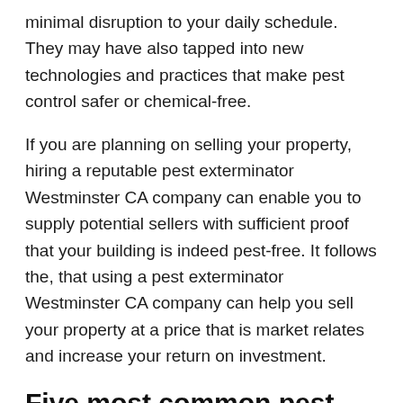minimal disruption to your daily schedule. They may have also tapped into new technologies and practices that make pest control safer or chemical-free.
If you are planning on selling your property, hiring a reputable pest exterminator Westminster CA company can enable you to supply potential sellers with sufficient proof that your building is indeed pest-free. It follows the, that using a pest exterminator Westminster CA company can help you sell your property at a price that is market relates and increase your return on investment.
Five most common pest control methods
Rodent and pest infestations can take many forms and